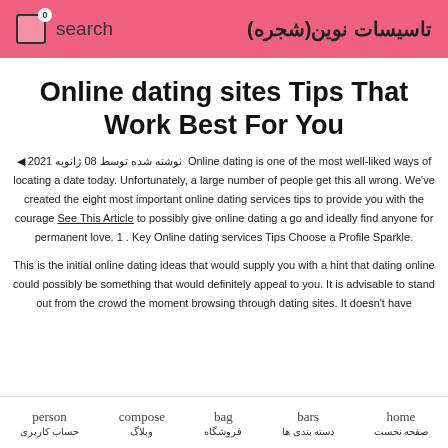search | تاسیسات نوین(شجره)
Online dating sites Tips That Work Best For You
نوشته شده توسط  Online dating is one of the most well-liked ways of locating a date today. Unfortunately, a large number of people get this all wrong. We've created the eight most important online dating services tips to provide you with the courage See This Article to possibly give online dating a go and ideally find anyone for permanent love. 1 . Key Online dating services Tips Choose a Profile Sparkle.
This is the initial online dating ideas that would supply you with a hint that dating online could possibly be something that would definitely appeal to you. It is advisable to stand out from the crowd the moment browsing through dating sites. It doesn't have
person حساب کاربری | compose وبلاگ | bag فروشگاه | bars دسته بندی ها | home صفحه نخست